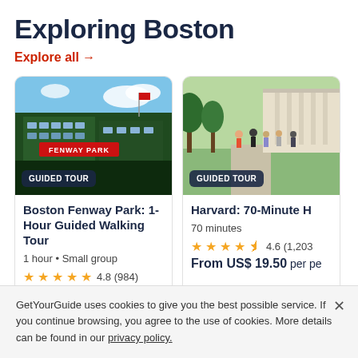Exploring Boston
Explore all →
[Figure (photo): Fenway Park exterior, green facade with signage, viewed from below against blue sky. Badge reads 'GUIDED TOUR'.]
Boston Fenway Park: 1-Hour Guided Walking Tour
1 hour • Small group
★★★★★ 4.8 (984)
From US$ 25 per person
[Figure (photo): Harvard campus outdoor tour, group of people walking on path surrounded by green trees and buildings. Badge reads 'GUIDED TOUR'.]
Harvard: 70-Minute H…
70 minutes
★★★★½ 4.6 (1,203…)
From US$ 19.50 per pe…
GetYourGuide uses cookies to give you the best possible service. If you continue browsing, you agree to the use of cookies. More details can be found in our privacy policy.